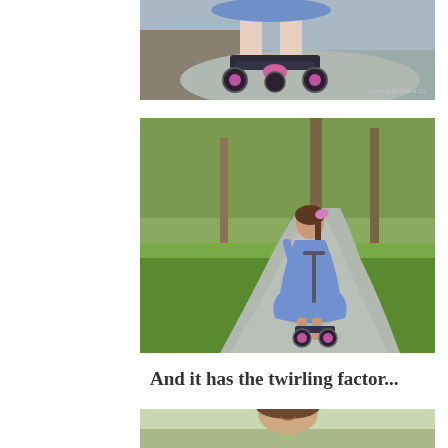[Figure (photo): Close-up photo of a child's legs and feet on a pink/purple three-wheeled scooter on a path, with a blue dress visible. Small watermark text in lower right corner.]
[Figure (photo): A young girl in a blue dress with a pink hair bow, seen from behind, riding a pink/purple two-wheeled scooter along a park path with green grass and trees in the background.]
And it has the twirling factor...
[Figure (photo): Partial photo of a child smiling, outdoors in a sunny setting, cropped at the bottom of the page.]